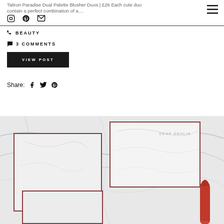Taliron Paradise Dual Palette Blusher Duos | £26 Each cute duo contain a perfect combination of a....
BEAUTY
3 COMMENTS
VIEW POST
Share:
[Figure (photo): Dear Dahlia marble packaging boxes with red lipstick on marble surface]